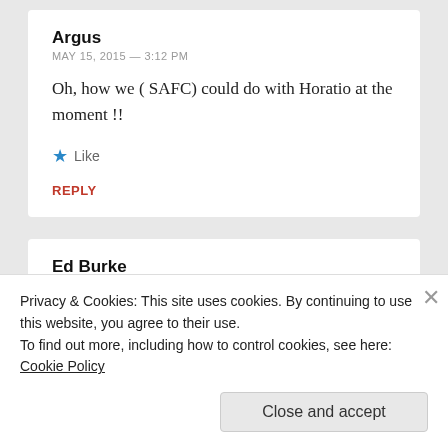Argus
MAY 15, 2015 — 3:12 PM
Oh, how we ( SAFC) could do with Horatio at the moment !!
Like
REPLY
Ed Burke
NOVEMBER 5, 2017 — 4:03 PM
Privacy & Cookies: This site uses cookies. By continuing to use this website, you agree to their use.
To find out more, including how to control cookies, see here: Cookie Policy
Close and accept